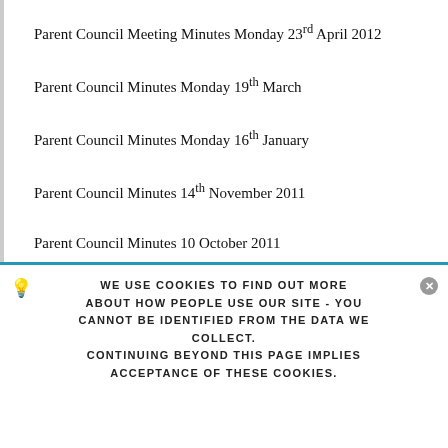Parent Council Meeting Minutes Monday 23rd April 2012
Parent Council Minutes Monday 19th March
Parent Council Minutes Monday 16th January
Parent Council Minutes 14th November 2011
Parent Council Minutes 10 October 2011
WE USE COOKIES TO FIND OUT MORE ABOUT HOW PEOPLE USE OUR SITE - YOU CANNOT BE IDENTIFIED FROM THE DATA WE COLLECT. CONTINUING BEYOND THIS PAGE IMPLIES ACCEPTANCE OF THESE COOKIES.